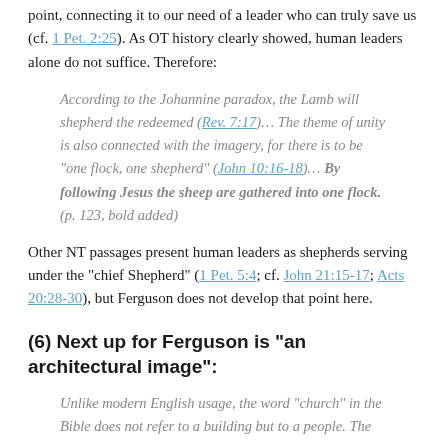point, connecting it to our need of a leader who can truly save us (cf. 1 Pet. 2:25). As OT history clearly showed, human leaders alone do not suffice. Therefore:
According to the Johannine paradox, the Lamb will shepherd the redeemed (Rev. 7:17)... The theme of unity is also connected with the imagery, for there is to be "one flock, one shepherd" (John 10:16-18)... By following Jesus the sheep are gathered into one flock. (p. 123, bold added)
Other NT passages present human leaders as shepherds serving under the "chief Shepherd" (1 Pet. 5:4; cf. John 21:15-17; Acts 20:28-30), but Ferguson does not develop that point here.
(6) Next up for Ferguson is “an architectural image”:
Unlike modern English usage, the word "church" in the Bible does not refer to a building but to a people. The